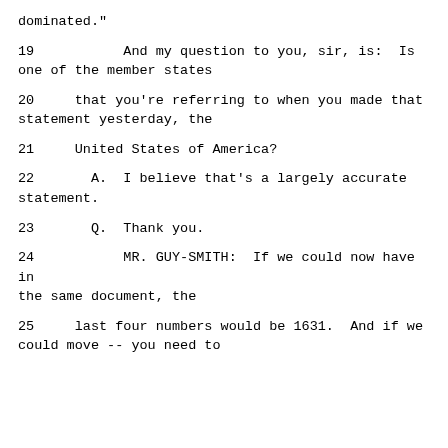dominated."
19          And my question to you, sir, is:  Is one of the member states
20     that you're referring to when you made that statement yesterday, the
21     United States of America?
22       A.  I believe that's a largely accurate statement.
23       Q.  Thank you.
24          MR. GUY-SMITH:  If we could now have in the same document, the
25     last four numbers would be 1631.  And if we could move -- you need to